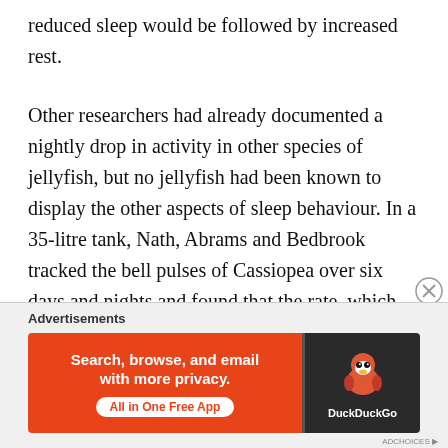reduced sleep would be followed by increased rest.
Other researchers had already documented a nightly drop in activity in other species of jellyfish, but no jellyfish had been known to display the other aspects of sleep behaviour. In a 35-litre tank, Nath, Abrams and Bedbrook tracked the bell pulses of Cassiopea over six days and nights and found that the rate, which was an average of one pulse per second by day, dropped by almost one-third at night. They also documented night-time pulse-free periods of 10–15 seconds, which didn't occur during the day.
Advertisements
[Figure (other): DuckDuckGo advertisement banner. Orange left panel with text 'Search, browse, and email with more privacy. All in One Free App'. Dark right panel with DuckDuckGo owl logo and brand name.]